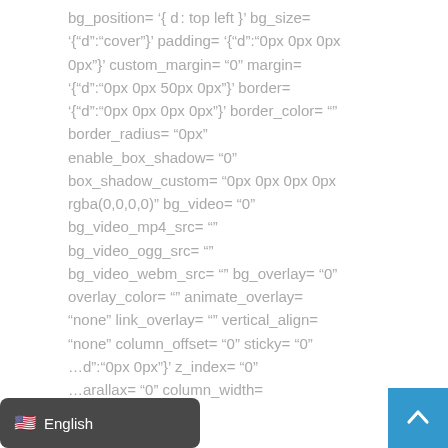bg_position= '{ d : top left }' bg_size= '{"d":"cover"}' padding= '{"d":"0px 0px 0px 0px"}' custom_margin= "0" margin= '{"d":"0px 0px 50px 0px"}' border= '{"d":"0px 0px 0px 0px"}' border_color= "" border_radius= "0px" enable_box_shadow= "0" box_shadow_custom= "0px 0px 0px 0px rgba(0,0,0,0)" bg_video= "0" bg_video_mp4_src= "" bg_video_ogg_src= "" bg_video_webm_src= "" bg_overlay= "0" overlay_color= "" animate_overlay= "none" link_overlay= "" vertical_align= "none" column_offset= "0" sticky= "0" ...d":"0px 0px"}' z_index= "0" ...parallax= "0" column_width=
[Figure (screenshot): Language selector bar showing US flag emoji and 'English' text on dark background]
[Figure (screenshot): Scroll-to-top button: blue square with white upward chevron arrow]